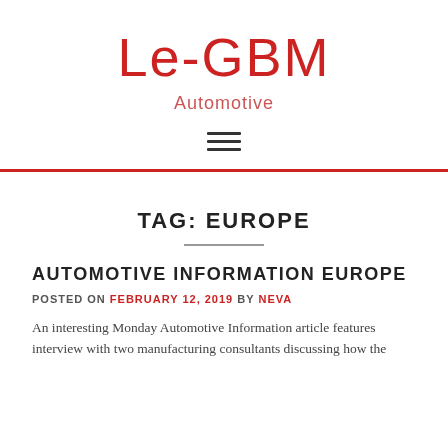Le-GBM
Automotive
TAG: EUROPE
AUTOMOTIVE INFORMATION EUROPE
POSTED ON FEBRUARY 12, 2019 BY NEVA
An interesting Monday Automotive Information article features interview with two manufacturing consultants discussing how the